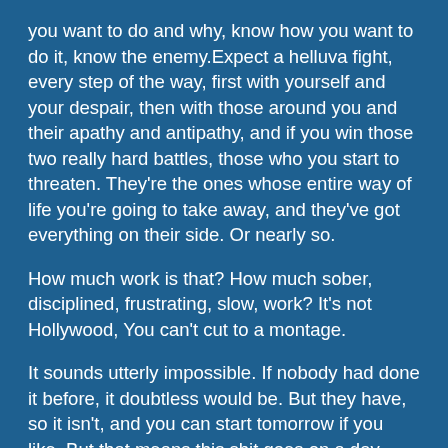you want to do and why, know how you want to do it, know the enemy. Expect a helluva fight, every step of the way, first with yourself and your despair, then with those around you and their apathy and antipathy, and if you win those two really hard battles, those who you start to threaten. They're the ones whose entire way of life you're going to take away, and they've got everything on their side. Or nearly so.
How much work is that? How much sober, disciplined, frustrating, slow, work? It's not Hollywood, You can't cut to a montage.
It sounds utterly impossible. If nobody had done it before, it doubtless would be. But they have, so it isn't, and you can start tomorrow if you like. But that means this shit goes on a day longer than it has to, so you could start today. Find a hero. find a friend, find a path.
If you want to.